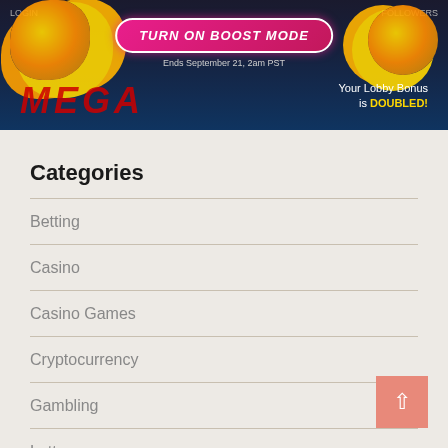[Figure (screenshot): Casino website banner showing 'TURN ON BOOST MODE' button with gold coins, 'Ends September 21, 2am PST' text, MEGA logo, and 'Your Lobby Bonus is DOUBLED!' text on dark background]
Categories
Betting
Casino
Casino Games
Cryptocurrency
Gambling
Lottery
Marketing
Poker
Slot